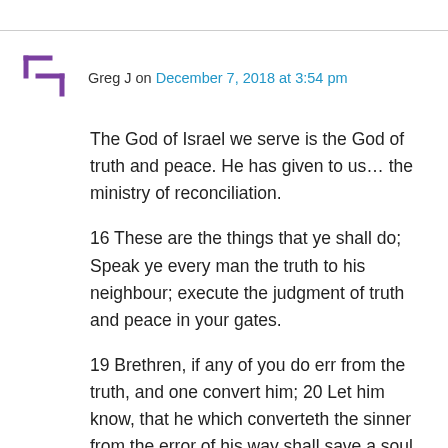Greg J on December 7, 2018 at 3:54 pm
The God of Israel we serve is the God of truth and peace. He has given to us… the ministry of reconciliation.
16 These are the things that ye shall do; Speak ye every man the truth to his neighbour; execute the judgment of truth and peace in your gates.
19 Brethren, if any of you do err from the truth, and one convert him; 20 Let him know, that he which converteth the sinner from the error of his way shall save a soul from death, and shall hide a multitude of sins. James 5
14 Bless them which persecute you: bless, and